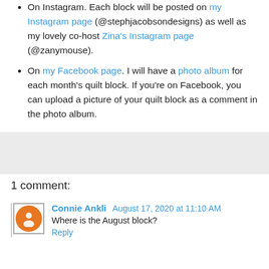On Instagram. Each block will be posted on my Instagram page (@stephjacobsondesigns) as well as my lovely co-host Zina's Instagram page (@zanymouse).
On my Facebook page. I will have a photo album for each month's quilt block. If you're on Facebook, you can upload a picture of your quilt block as a comment in the photo album.
1 comment:
Connie Ankli August 17, 2020 at 11:10 AM
Where is the August block?
Reply